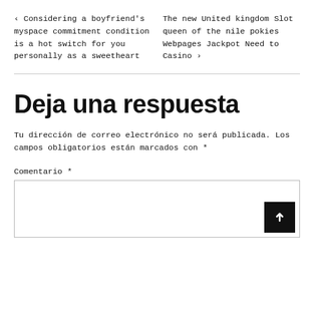‹ Considering a boyfriend's myspace commitment condition is a hot switch for you personally as a sweetheart
The new United kingdom Slot queen of the nile pokies Webpages Jackpot Need to Casino ›
Deja una respuesta
Tu dirección de correo electrónico no será publicada. Los campos obligatorios están marcados con *
Comentario *